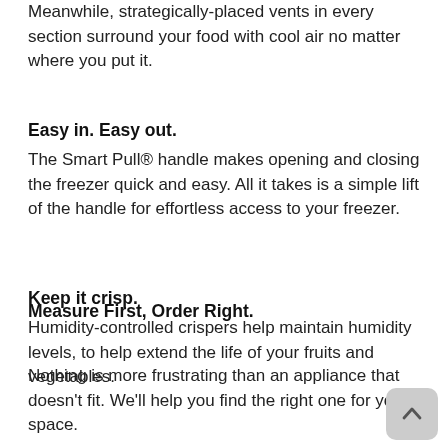Meanwhile, strategically-placed vents in every section surround your food with cool air no matter where you put it.
Easy in. Easy out.
The Smart Pull® handle makes opening and closing the freezer quick and easy. All it takes is a simple lift of the handle for effortless access to your freezer.
Keep it crisp.
Humidity-controlled crispers help maintain humidity levels, to help extend the life of your fruits and vegetables.
Measure First, Order Right.
Nothing is more frustrating than an appliance that doesn't fit. We'll help you find the right one for your space.